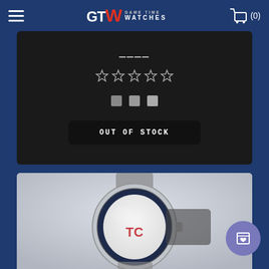Game Time Watches - navigation header with hamburger menu, GTW logo, and cart (0)
[Figure (screenshot): Product listing card on dark background showing 5 empty star rating, 3 color swatches, and OUT OF STOCK button]
[Figure (photo): Close-up photo of a Minnesota Twins branded wristwatch with silver metal bracelet band and blue/white dial featuring the TC logo]